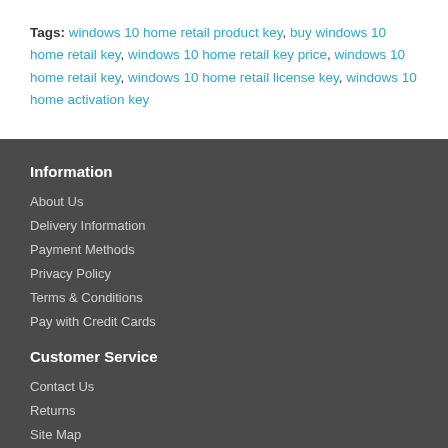Tags: windows 10 home retail product key, buy windows 10 home retail key, windows 10 home retail key price, windows 10 home retail key, windows 10 home retail license key, windows 10 home activation key
Information
About Us
Delivery Information
Payment Methods
Privacy Policy
Terms & Conditions
Pay with Credit Cards
Customer Service
Contact Us
Returns
Site Map
Extras
Brands